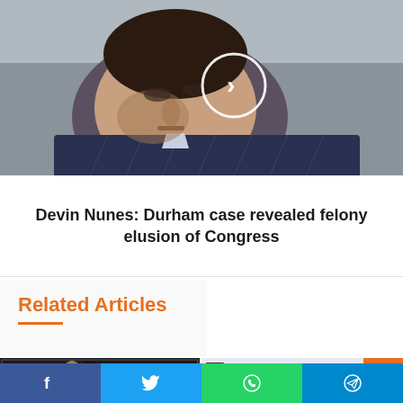[Figure (photo): Photo of Devin Nunes looking upward with a play button circle overlay, wearing a dark pinstripe suit]
Devin Nunes: Durham case revealed felony elusion of Congress
Related Articles
[Figure (photo): Thumbnail photo of a man gesturing, speaking at a podium against a dark background with gold design]
[Figure (infographic): Thumbnail of a technical diagram or flowchart with blue and yellow elements on a light background]
Facebook  Twitter  WhatsApp  Telegram